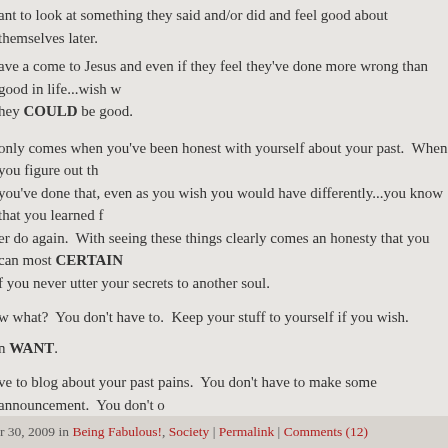ant to look at something they said and/or did and feel good about themselves later.
ave a come to Jesus and even if they feel they've done more wrong than good in life...wish w hey COULD be good.
only comes when you've been honest with yourself about your past.  When you figure out th you've done that, even as you wish you would have differently...you know that you learned f er do again.  With seeing these things clearly comes an honesty that you can most CERTAIN f you never utter your secrets to another soul.
w what?  You don't have to.  Keep your stuff to yourself if you wish.
n WANT.
ve to blog about your past pains.  You don't have to make some announcement.  You don't o hing except yourself and once you're finally ready to forgive yourself and accept that you are humans make mistakes...things are going to start falling into place.
questioning yourself.  Never stop striving to be all you can be.  No matter your CURRENT es...your life can change if you make a plan and follow through with the steps in the plan.  I k I know sometimes it overwhelms you...but you have to make the CHOICE to be better.
YOU WANT.
O BE BETTER.
r 30, 2009 in Being Fabulous!, Society | Permalink | Comments (12)